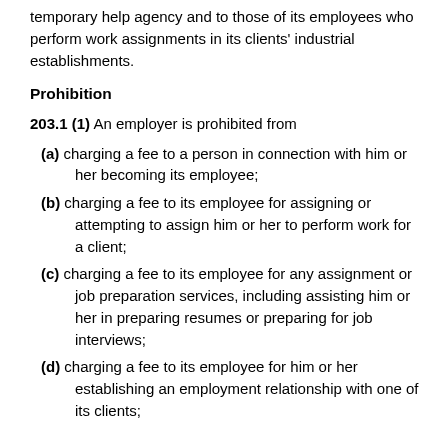temporary help agency and to those of its employees who perform work assignments in its clients' industrial establishments.
Prohibition
203.1 (1) An employer is prohibited from
(a) charging a fee to a person in connection with him or her becoming its employee;
(b) charging a fee to its employee for assigning or attempting to assign him or her to perform work for a client;
(c) charging a fee to its employee for any assignment or job preparation services, including assisting him or her in preparing resumes or preparing for job interviews;
(d) charging a fee to its employee for him or her establishing an employment relationship with one of its clients;